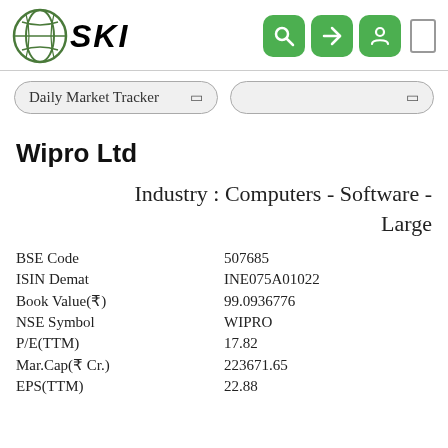SKI - Daily Market Tracker
Wipro Ltd
Industry : Computers - Software - Large
| Field | Value |
| --- | --- |
| BSE Code | 507685 |
| ISIN Demat | INE075A01022 |
| Book Value(₹) | 99.0936776 |
| NSE Symbol | WIPRO |
| P/E(TTM) | 17.82 |
| Mar.Cap(₹ Cr.) | 223671.65 |
| EPS(TTM) | 22.88 |